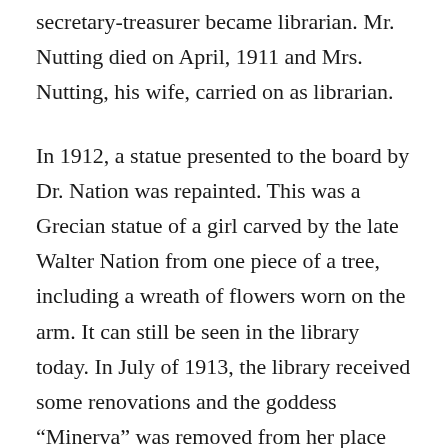secretary-treasurer became librarian. Mr. Nutting died on April, 1911 and Mrs. Nutting, his wife, carried on as librarian.
In 1912, a statue presented to the board by Dr. Nation was repainted. This was a Grecian statue of a girl carved by the late Walter Nation from one piece of a tree, including a wreath of flowers worn on the arm. It can still be seen in the library today. In July of 1913, the library received some renovations and the goddess “Minerva” was removed from her place by the entrance.
In August of 1920, J.E. Littlejohn took over as librarian from Mrs. Nutting. Dr. Joseph Bascom died in July of